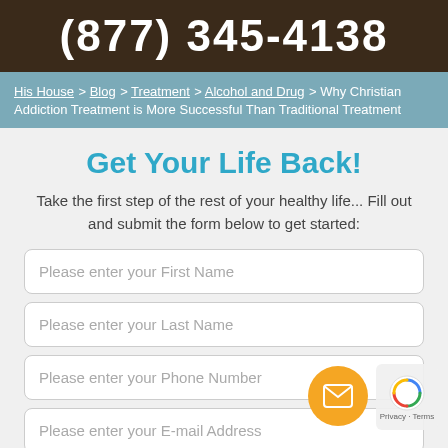(877) 345-4138
His House > Blog > Treatment > Alcohol and Drug > Why Christian Addiction Treatment is More Successful Than Traditional Treatment
Get Your Life Back!
Take the first step of the rest of your healthy life... Fill out and submit the form below to get started:
Please enter your First Name
Please enter your Last Name
Please enter your Phone Number
Please enter your E-mail Address
Select a Program